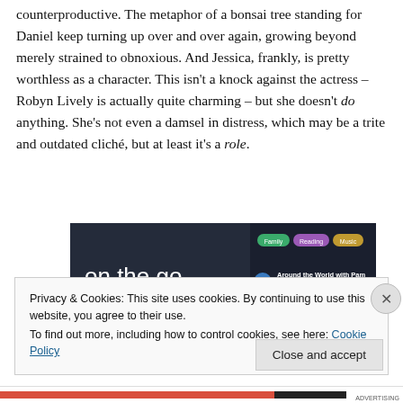counterproductive. The metaphor of a bonsai tree standing for Daniel keep turning up over and over again, growing beyond merely strained to obnoxious. And Jessica, frankly, is pretty worthless as a character. This isn't a knock against the actress – Robyn Lively is actually quite charming – but she doesn't do anything. She's not even a damsel in distress, which may be a trite and outdated cliché, but at least it's a role.
[Figure (screenshot): Advertisement screenshot showing 'on the go.' text with app interface showing Reading, Music categories and 'Around the World with Pam' article]
Privacy & Cookies: This site uses cookies. By continuing to use this website, you agree to their use.
To find out more, including how to control cookies, see here: Cookie Policy
Close and accept